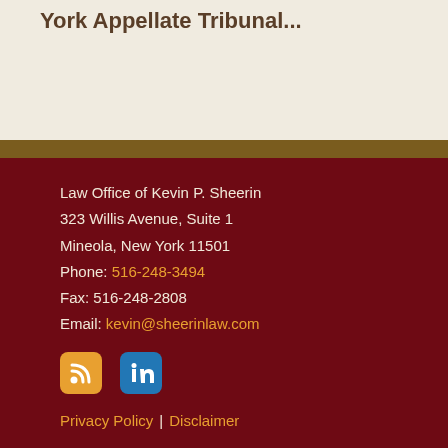York Appellate Tribunal...
Law Office of Kevin P. Sheerin
323 Willis Avenue, Suite 1
Mineola, New York 11501
Phone: 516-248-3494
Fax: 516-248-2808
Email: kevin@sheerinlaw.com
[Figure (logo): RSS feed icon (orange rounded square) and LinkedIn icon (blue rounded square)]
Privacy Policy | Disclaimer
About My Firm
The Law Office of Kevin P. Sheerin is dedicated to servicing Civil Servants in the New York City and